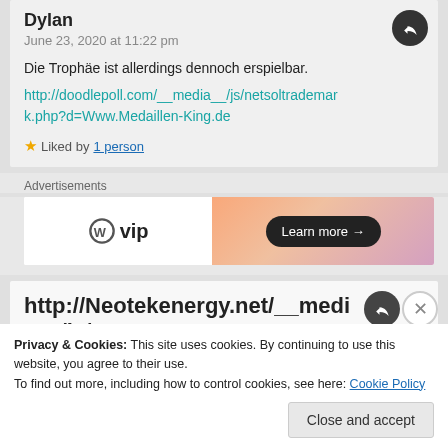Dylan
June 23, 2020 at 11:22 pm
Die Trophäe ist allerdings dennoch erspielbar.
http://doodlepoll.com/__media__/js/netsoltrademark.php?d=Www.Medaillen-King.de
★ Liked by 1 person
Advertisements
[Figure (screenshot): WordPress VIP advertisement banner with 'Learn more →' button on gradient background]
http://Neotekenergy.net/__media__/js/n...
Privacy & Cookies: This site uses cookies. By continuing to use this website, you agree to their use.
To find out more, including how to control cookies, see here: Cookie Policy
Close and accept